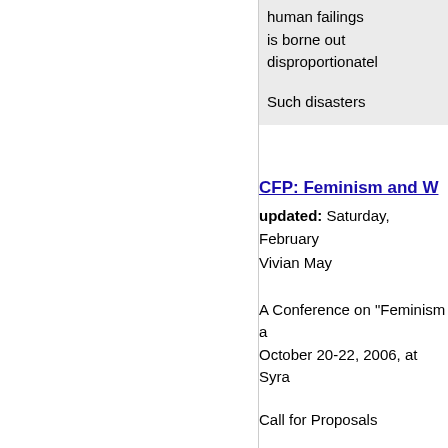human failings
is borne out disproportionately
Such disasters
CFP: Feminism and W...
updated: Saturday, February...
Vivian May
A Conference on "Feminism a...
October 20-22, 2006, at Syra...
Call for Proposals
The Women's Studies Program...
national conference on the co...
on recent U.S. government in...
transnational context in whic...
dialogue from interdisciplinar...